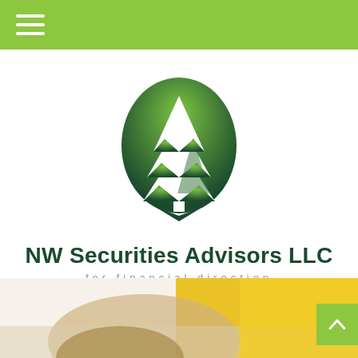hamburger menu icon
[Figure (logo): NW Securities Advisors LLC logo: a dark green oval/shield shape with a white pine tree silhouette in the center, gradient from light green at top to dark green at bottom]
NW Securities Advisors LLC
for financial direction
[Figure (other): Client Login button with lock icon on green background]
[Figure (photo): Partial photo at bottom showing what appears to be a yellow and brown background, possibly a financial/nature related image]